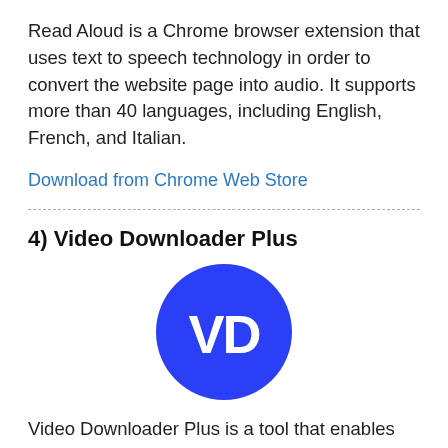Read Aloud is a Chrome browser extension that uses text to speech technology in order to convert the website page into audio. It supports more than 40 languages, including English, French, and Italian.
Download from Chrome Web Store
4) Video Downloader Plus
[Figure (logo): Video Downloader Plus logo: a blue circle with white 'VD' stylized letters inside]
Video Downloader Plus is a tool that enables you to download videos from any website. You can use it to save video tutorials, movies, songs, and more